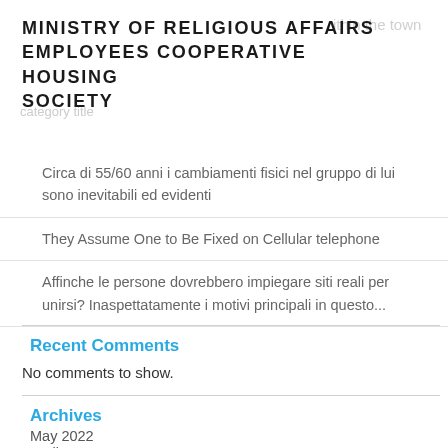MINISTRY OF RELIGIOUS AFFAIRS EMPLOYEES COOPERATIVE HOUSING SOCIETY
Circa di 55/60 anni i cambiamenti fisici nel gruppo di lui sono inevitabili ed evidenti
They Assume One to Be Fixed on Cellular telephone
Affinche le persone dovrebbero impiegare siti reali per unirsi? Inaspettatamente i motivi principali in questo...
Recent Comments
No comments to show.
Archives
May 2022
April 2022